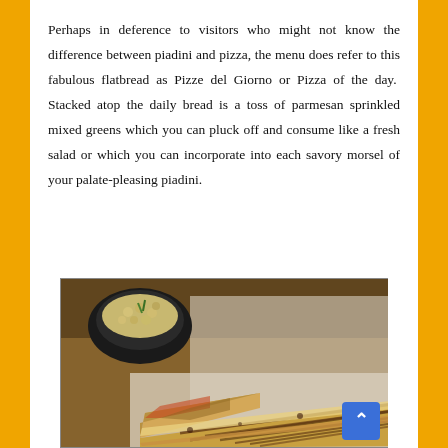Perhaps in deference to visitors who might not know the difference between piadini and pizza, the menu does refer to this fabulous flatbread as Pizze del Giorno or Pizza of the day.  Stacked atop the daily bread is a toss of parmesan sprinkled mixed greens which you can pluck off and consume like a fresh salad or which you can incorporate into each savory morsel of your palate-pleasing piadini.
[Figure (photo): A grilled piadini flatbread sandwich on a white plate, with a small dark bowl of chickpea salad in the background.]